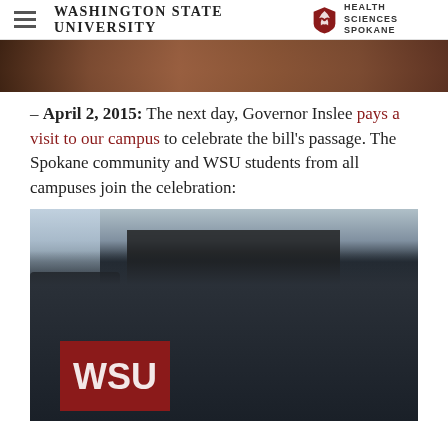Washington State University Health Sciences Spokane
[Figure (photo): Cropped top portion of a photo showing people, partially visible]
– April 2, 2015: The next day, Governor Inslee pays a visit to our campus to celebrate the bill's passage. The Spokane community and WSU students from all campuses join the celebration:
[Figure (photo): Group photo of WSU students and Governor Inslee at WSU Health Sciences Spokane campus. A photographer in the foreground shoots the group, who are holding a crimson WSU flag with the Cougar logo. People are gathered in front of dark curtains with flags visible in the background.]